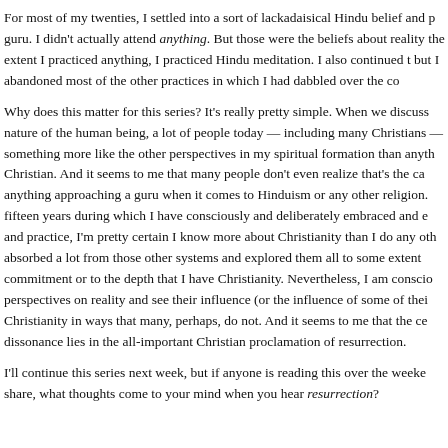For most of my twenties, I settled into a sort of lackadaisical Hindu belief and p guru. I didn't actually attend anything. But those were the beliefs about reality the extent I practiced anything, I practiced Hindu meditation. I also continued t but I abandoned most of the other practices in which I had dabbled over the co
Why does this matter for this series? It's really pretty simple. When we discuss nature of the human being, a lot of people today — including many Christians — something more like the other perspectives in my spiritual formation than anyth Christian. And it seems to me that many people don't even realize that's the ca anything approaching a guru when it comes to Hinduism or any other religion. fifteen years during which I have consciously and deliberately embraced and e and practice, I'm pretty certain I know more about Christianity than I do any oth absorbed a lot from those other systems and explored them all to some extent commitment or to the depth that I have Christianity. Nevertheless, I am conscio perspectives on reality and see their influence (or the influence of some of thei Christianity in ways that many, perhaps, do not. And it seems to me that the ce dissonance lies in the all-important Christian proclamation of resurrection.
I'll continue this series next week, but if anyone is reading this over the weeke share, what thoughts come to your mind when you hear resurrection?